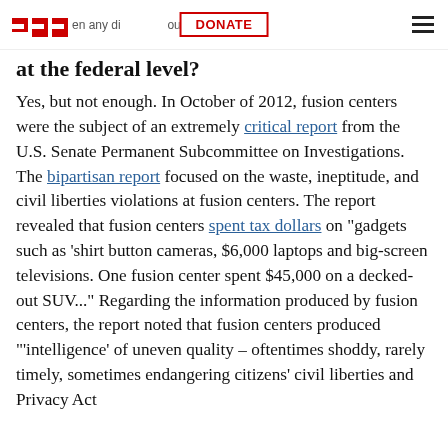EFF  en any di  DONATE  ou  fusion cente  ≡
at the federal level?
Yes, but not enough. In October of 2012, fusion centers were the subject of an extremely critical report from the U.S. Senate Permanent Subcommittee on Investigations. The bipartisan report focused on the waste, ineptitude, and civil liberties violations at fusion centers. The report revealed that fusion centers spent tax dollars on "gadgets such as 'shirt button cameras, $6,000 laptops and big-screen televisions. One fusion center spent $45,000 on a decked-out SUV..." Regarding the information produced by fusion centers, the report noted that fusion centers produced "'intelligence' of uneven quality – oftentimes shoddy, rarely timely, sometimes endangering citizens' civil liberties and Privacy Act